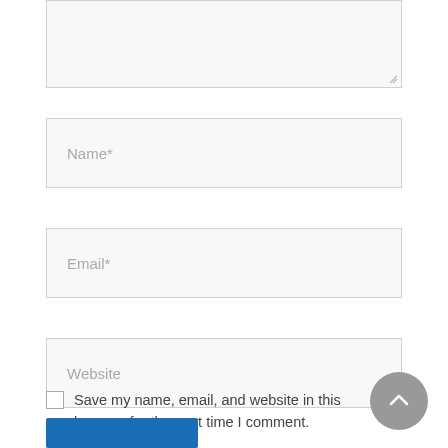[Figure (screenshot): A comment form with textarea (partially visible at top), Name, Email, Website input fields, a save checkbox, a scroll-to-top button, and a submit button.]
Name*
Email*
Website
Save my name, email, and website in this browser for the next time I comment.